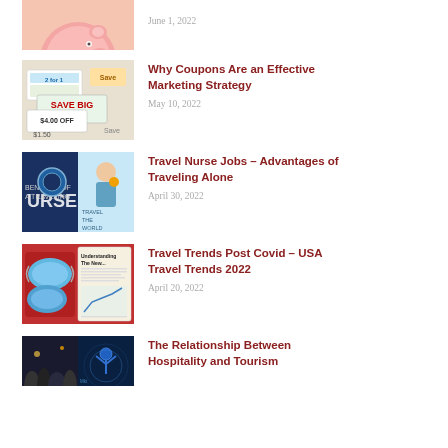[Figure (photo): Piggy bank photo (partial, top cropped)]
June 1, 2022
[Figure (photo): Coupons with 'SAVE BIG' and '$4.00 OFF' text]
Why Coupons Are an Effective Marketing Strategy
May 10, 2022
[Figure (photo): Travel nurse collage with stethoscope and 'TRAVEL THE WORLD' text]
Travel Nurse Jobs – Advantages of Traveling Alone
April 30, 2022
[Figure (photo): Travel post-covid: face masks, newspaper 'Understanding The New...']
Travel Trends Post Covid – USA Travel Trends 2022
April 20, 2022
[Figure (photo): Hospitality and tourism collage]
The Relationship Between Hospitality and Tourism